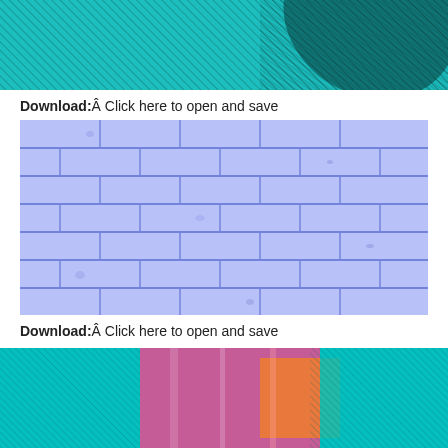[Figure (illustration): Abstract teal/cyan and dark diagonal line pattern illustration, cropped at top]
Download:Â Click here to open and save
[Figure (photo): Blue/purple painted brick wall photo]
Download:Â Click here to open and save
[Figure (photo): Colorful neon interior scene with pink, teal, and orange colors, partially cropped at bottom]